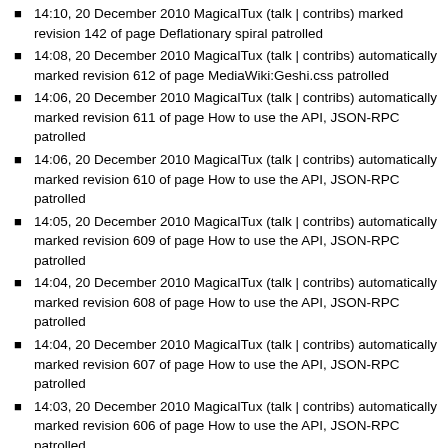14:10, 20 December 2010 MagicalTux (talk | contribs) marked revision 142 of page Deflationary spiral patrolled
14:08, 20 December 2010 MagicalTux (talk | contribs) automatically marked revision 612 of page MediaWiki:Geshi.css patrolled
14:06, 20 December 2010 MagicalTux (talk | contribs) automatically marked revision 611 of page How to use the API, JSON-RPC patrolled
14:06, 20 December 2010 MagicalTux (talk | contribs) automatically marked revision 610 of page How to use the API, JSON-RPC patrolled
14:05, 20 December 2010 MagicalTux (talk | contribs) automatically marked revision 609 of page How to use the API, JSON-RPC patrolled
14:04, 20 December 2010 MagicalTux (talk | contribs) automatically marked revision 608 of page How to use the API, JSON-RPC patrolled
14:04, 20 December 2010 MagicalTux (talk | contribs) automatically marked revision 607 of page How to use the API, JSON-RPC patrolled
14:03, 20 December 2010 MagicalTux (talk | contribs) automatically marked revision 606 of page How to use the API, JSON-RPC patrolled
14:02, 20 December 2010 MagicalTux (talk | contribs) marked revision 276 of page Template:MainPage Topics patrolled